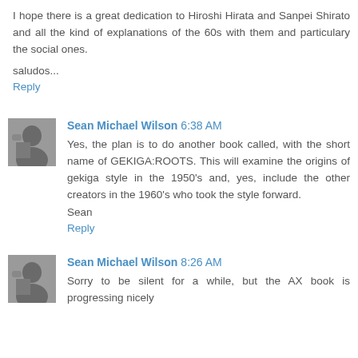I hope there is a great dedication to Hiroshi Hirata and Sanpei Shirato and all the kind of explanations of the 60s with them and particulary the social ones.
saludos...
Reply
Sean Michael Wilson 6:38 AM
Yes, the plan is to do another book called, with the short name of GEKIGA:ROOTS. This will examine the origins of gekiga style in the 1950's and, yes, include the other creators in the 1960's who took the style forward.
Sean
Reply
Sean Michael Wilson 8:26 AM
Sorry to be silent for a while, but the AX book is progressing nicely